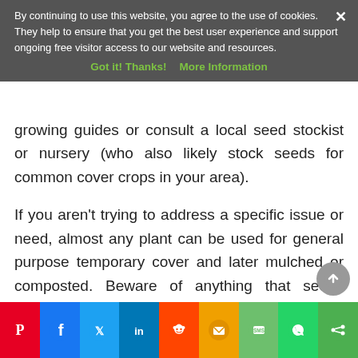By continuing to use this website, you agree to the use of cookies. They help to ensure that you get the best user experience and support ongoing free visitor access to our website and resources. Got it! Thanks!  More Information
growing guides or consult a local seed stockist or nursery (who also likely stock seeds for common cover crops in your area).
If you aren't trying to address a specific issue or need, almost any plant can be used for general purpose temporary cover and later mulched or composted. Beware of anything that seeds prolifically unless you want it to naturalise, and avoid plants listed as locally invasive species.
Social share bar: Pinterest, Facebook, Twitter, LinkedIn, Reddit, Email, SMS, WhatsApp, Share